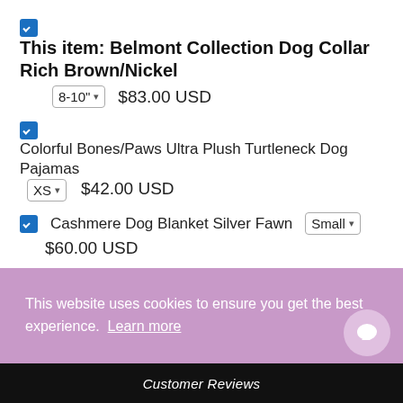☑ This item: Belmont Collection Dog Collar Rich Brown/Nickel [8-10"] $83.00 USD
☑ Colorful Bones/Paws Ultra Plush Turtleneck Dog Pajamas [XS] $42.00 USD
☑ Cashmere Dog Blanket Silver Fawn [Small] $60.00 USD
Share:
This website uses cookies to ensure you get the best experience. Learn more
Ok
Customer Reviews